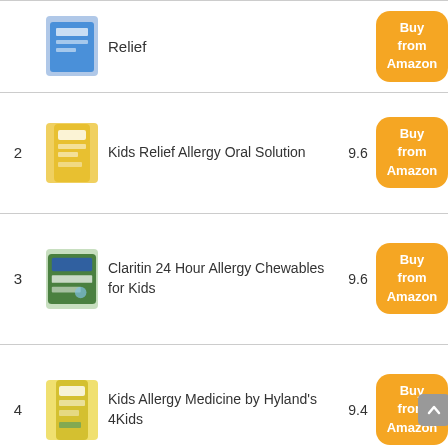Relief — Buy from Amazon
2  Kids Relief Allergy Oral Solution  9.6  Buy from Amazon
3  Claritin 24 Hour Allergy Chewables for Kids  9.6  Buy from Amazon
4  Kids Allergy Medicine by Hyland's 4Kids  9.4  Buy from Amazon
5  (partial row)